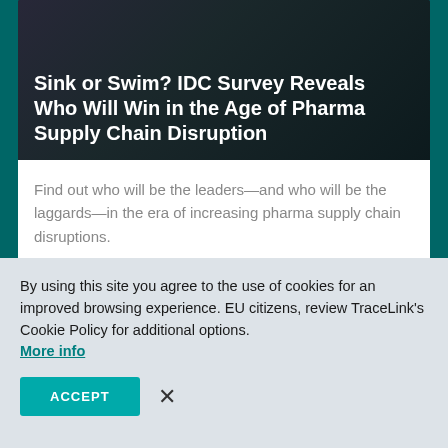Sink or Swim? IDC Survey Reveals Who Will Win in the Age of Pharma Supply Chain Disruption
Find out who will be the leaders—and who will be the laggards—in the era of increasing pharma supply chain disruptions.
Everybody has a plan. Until a global pandemic rips it to pieces.
By using this site you agree to the use of cookies for an improved browsing experience. EU citizens, review TraceLink's Cookie Policy for additional options. More info